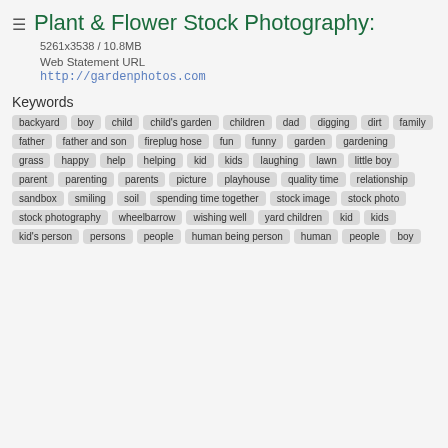Plant & Flower Stock Photography:
5261x3538 / 10.8MB
Web Statement URL
http://gardenphotos.com
Keywords
backyard
boy
child
child's garden
children
dad
digging
dirt
family
father
father and son
fireplug hose
fun
funny
garden
gardening
grass
happy
help
helping
kid
kids
laughing
lawn
little boy
parent
parenting
parents
picture
playhouse
quality time
relationship
sandbox
smiling
soil
spending time together
stock image
stock photo
stock photography
wheelbarrow
wishing well
yard children
kid
kids
kid's person
persons
people
human being person
human
people
boy